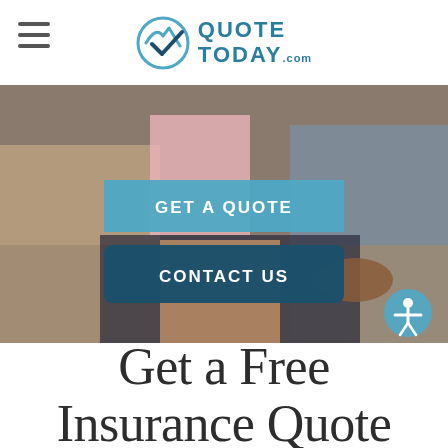QUOTE TODAY .com
[Figure (photo): A family sitting on a couch together, with adults and a child in casual clothing, overlaid with two call-to-action buttons: 'GET A QUOTE' and 'CONTACT US'.]
Get a Free Insurance Quote